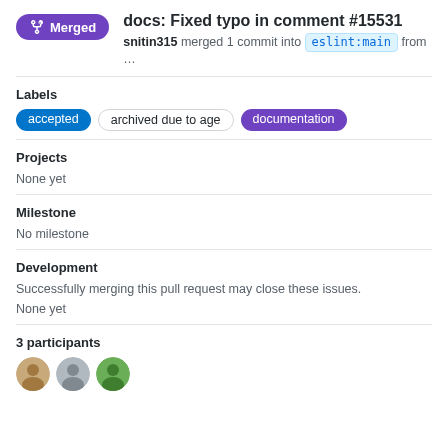docs: Fixed typo in comment #15531
snitin315 merged 1 commit into eslint:main from …
Labels
accepted   archived due to age   documentation
Projects
None yet
Milestone
No milestone
Development
Successfully merging this pull request may close these issues.
None yet
3 participants
[Figure (photo): Three participant avatar images in a row]